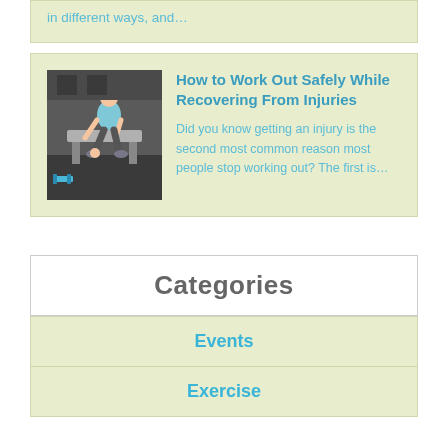in different ways, and…
How to Work Out Safely While Recovering From Injuries
[Figure (photo): Woman in gym sitting on bench, holding her ankle, appears to be dealing with an injury. Blue dumbbells on floor nearby.]
Did you know getting an injury is the second most common reason most people stop working out? The first is…
Categories
Events
Exercise